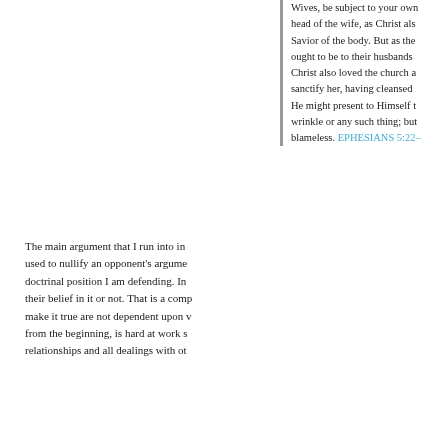Wives, be subject to your own head of the wife, as Christ also Savior of the body. But as the ought to be to their husbands Christ also loved the church a sanctify her, having cleansed He might present to Himself t wrinkle or any such thing; but blameless. EPHESIANS 5:22–
The main argument that I run into in used to nullify an opponent's argume doctrinal position I am defending. In their belief in it or not. That is a comp make it true are not dependent upon v from the beginning, is hard at work s relationships and all dealings with ot
View article →